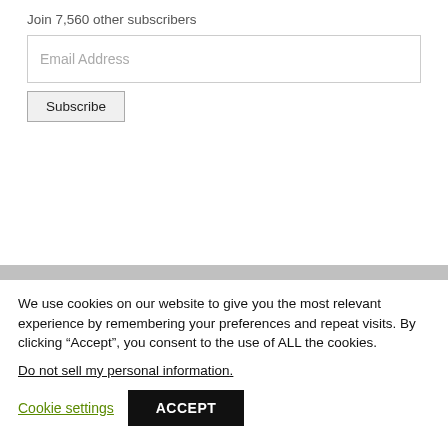Join 7,560 other subscribers
Email Address
Subscribe
We use cookies on our website to give you the most relevant experience by remembering your preferences and repeat visits. By clicking “Accept”, you consent to the use of ALL the cookies.
Do not sell my personal information.
Cookie settings
ACCEPT